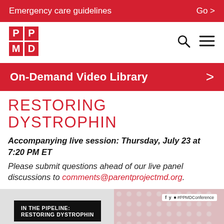Emergency care guidelines   Go >
[Figure (logo): PPMD logo (red square letters PP over MD) with search and hamburger menu icons]
On-Demand Video Library >
RESTORING DYSTROPHIN
Accompanying live session: Thursday, July 23 at 7:20 PM ET
Please submit questions ahead of our live panel discussions to comments@parentprojectmd.org.
[Figure (screenshot): In the Pipeline: Restoring Dystrophin video thumbnail banner with social media handle #PPMDConference on gray background]